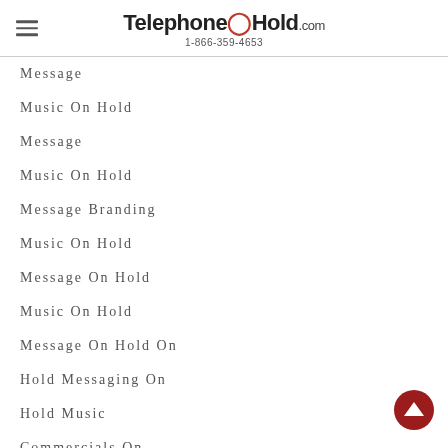TelephoneOnHold.com 1-866-359-4653
Message
Music On Hold
Message
Music On Hold
Message Branding
Music On Hold
Message On Hold
Music On Hold
Message On Hold On
Hold Messaging On
Hold Music
Commercials On